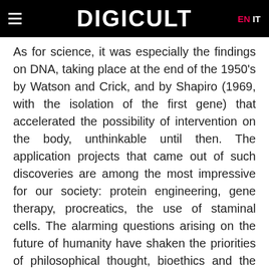DIGICULT  EN  IT
As for science, it was especially the findings on DNA, taking place at the end of the 1950's by Watson and Crick, and by Shapiro (1969, with the isolation of the first gene) that accelerated the possibility of intervention on the body, unthinkable until then. The application projects that came out of such discoveries are among the most impressive for our society: protein engineering, gene therapy, procreatics, the use of staminal cells. The alarming questions arising on the future of humanity have shaken the priorities of philosophical thought, bioethics and the philosophy of medicine have been institutionalized to allow these
This website uses cookies to ensure you get the best experience on our website. Learn more  Got it